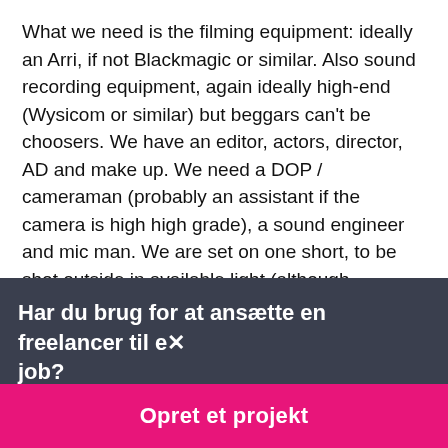What we need is the filming equipment: ideally an Arri, if not Blackmagic or similar. Also sound recording equipment, again ideally high-end (Wysicom or similar) but beggars can't be choosers. We have an editor, actors, director, AD and make up. We need a DOP / cameraman (probably an assistant if the camera is high high grade), a sound engineer and mic man. We are set on one short, to be shot outside in available light (although hopefully with golden hour sun), but are considering a second which would require interior lighting. Our director has a good profile, with endorsements from Terry Gilliam, Chris Morris,
Har du brug for at ansætte en freelancer til et job?
Opret et projekt